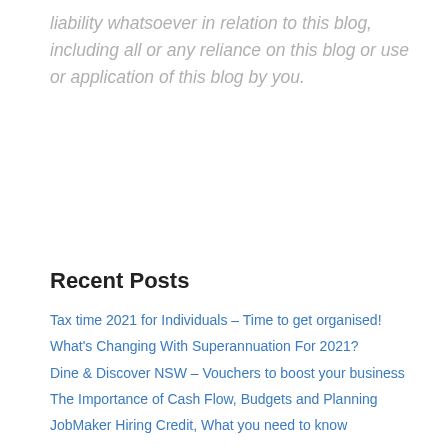liability whatsoever in relation to this blog, including all or any reliance on this blog or use or application of this blog by you.
Recent Posts
Tax time 2021 for Individuals – Time to get organised!
What's Changing With Superannuation For 2021?
Dine & Discover NSW – Vouchers to boost your business
The Importance of Cash Flow, Budgets and Planning
JobMaker Hiring Credit, What you need to know